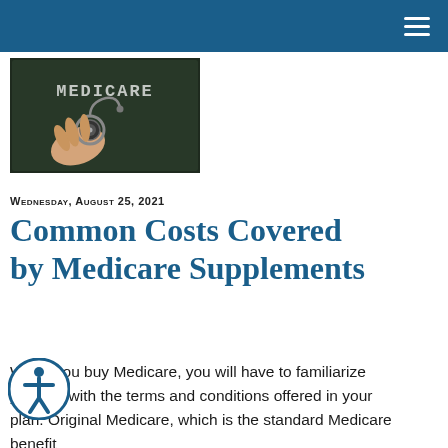Navigation bar with hamburger menu
[Figure (photo): Chalkboard with the word MEDICARE written on it, and a hand holding a stethoscope in the foreground]
Wednesday, August 25, 2021
Common Costs Covered by Medicare Supplements
When you buy Medicare, you will have to familiarize yourself with the terms and conditions offered in your plan. Original Medicare, which is the standard Medicare benefit